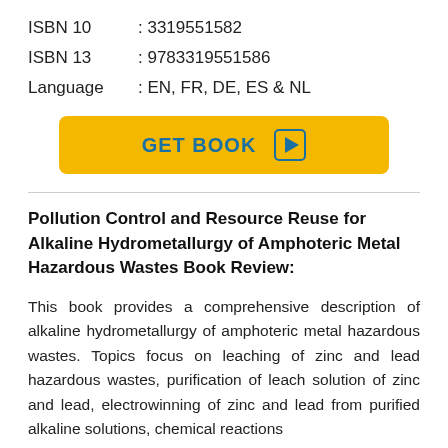ISBN 10 : 3319551582
ISBN 13 : 9783319551586
Language : EN, FR, DE, ES & NL
[Figure (other): Yellow GET BOOK button with play icon]
Pollution Control and Resource Reuse for Alkaline Hydrometallurgy of Amphoteric Metal Hazardous Wastes Book Review:
This book provides a comprehensive description of alkaline hydrometallurgy of amphoteric metal hazardous wastes. Topics focus on leaching of zinc and lead hazardous wastes, purification of leach solution of zinc and lead, electrowinning of zinc and lead from purified alkaline solutions, chemical reactions